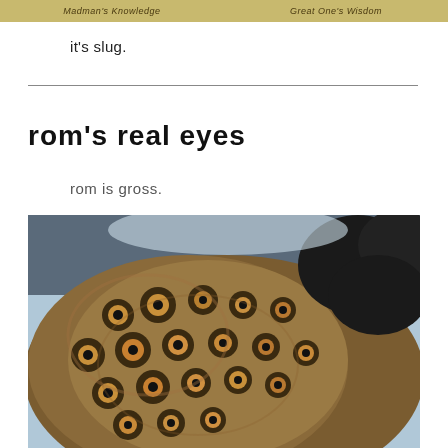Madman's Knowledge   Great One's Wisdom
it's slug.
rom's real eyes
rom is gross.
[Figure (photo): Close-up photograph of a creature or surface with many dark circular eye-like holes set in a brownish, swirling textured mass, with dark hair or fur visible in the upper right corner and a light background.]